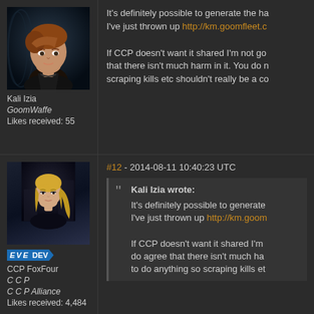[Figure (photo): Avatar portrait of Kali Izia - animated female character with short reddish-brown hair in dark futuristic setting]
Kali Izia
GoomWaffe
Likes received: 55
It's definitely possible to generate the ha... I've just thrown up http://km.goomfleet.c... If CCP doesn't want it shared I'm not go... that there isn't much harm in it. You do n... scraping kills etc shouldn't really be a co...
[Figure (photo): Avatar portrait of CCP FoxFour - animated female character with blonde hair in dark futuristic setting, with EVE DEV badge]
CCP FoxFour
CCP
CCP Alliance
Likes received: 4,484
#12 - 2014-08-11 10:40:23 UTC
Kali Izia wrote:
It's definitely possible to generate... I've just thrown up http://km.goom...
If CCP doesn't want it shared I'm... do agree that there isn't much ha... to do anything so scraping kills et...